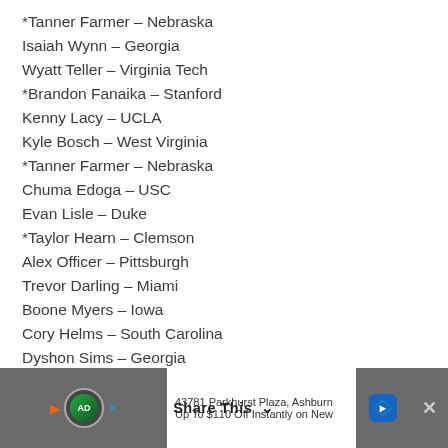*Tanner Farmer – Nebraska
Isaiah Wynn – Georgia
Wyatt Teller – Virginia Tech
*Brandon Fanaika – Stanford
Kenny Lacy – UCLA
Kyle Bosch – West Virginia
*Tanner Farmer – Nebraska
Chuma Edoga – USC
Evan Lisle – Duke
*Taylor Hearn – Clemson
Alex Officer – Pittsburgh
Trevor Darling – Miami
Boone Myers – Iowa
Cory Helms – South Carolina
Dyshon Sims – Georgia
K.J. Malone – LSU
*Lester Cotton – Alabama
[Figure (screenshot): Advertisement banner at bottom: Share This button overlay, with ad content showing '43781 Parkhurst Plaza, Ashburn' and 'Up To $110 Off Instantly on New' with navigation icons and close button]